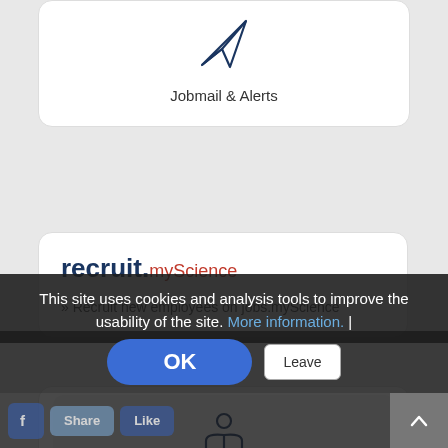[Figure (illustration): Paper airplane / send icon in dark navy blue outline style, above the label 'Jobmail & Alerts']
Jobmail & Alerts
[Figure (logo): recruit.myScience logo — 'recruit.' in bold dark navy, 'myScience' in red/orange normal weight]
» Recruit new employees on jobs.myScience
[Figure (illustration): Person reading open book icon in dark navy blue outline style, above the label 'Continuing Education']
Continuing Education
This site uses cookies and analysis tools to improve the usability of the site. More information. |